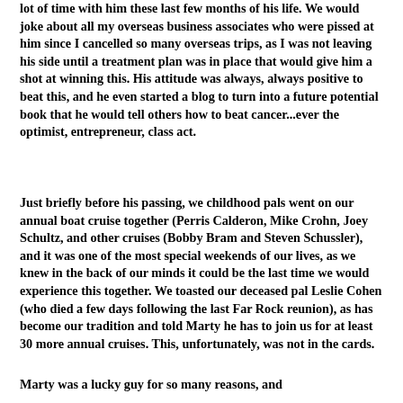lot of time with him these last few months of his life. We would joke about all my overseas business associates who were pissed at him since I cancelled so many overseas trips, as I was not leaving his side until a treatment plan was in place that would give him a shot at winning this. His attitude was always, always positive to beat this, and he even started a blog to turn into a future potential book that he would tell others how to beat cancer...ever the optimist, entrepreneur, class act.
Just briefly before his passing, we childhood pals went on our annual boat cruise together (Perris Calderon, Mike Crohn, Joey Schultz, and other cruises (Bobby Bram and Steven Schussler), and it was one of the most special weekends of our lives, as we knew in the back of our minds it could be the last time we would experience this together. We toasted our deceased pal Leslie Cohen (who died a few days following the last Far Rock reunion), as has become our tradition and told Marty he has to join us for at least 30 more annual cruises. This, unfortunately, was not in the cards.
Marty was a lucky guy for so many reasons, and